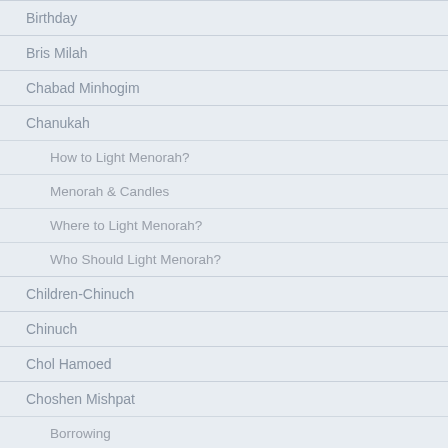Birthday
Bris Milah
Chabad Minhogim
Chanukah
How to Light Menorah?
Menorah & Candles
Where to Light Menorah?
Who Should Light Menorah?
Children-Chinuch
Chinuch
Chol Hamoed
Choshen Mishpat
Borrowing
Damages
Employer and Employee
Geneivas Daas